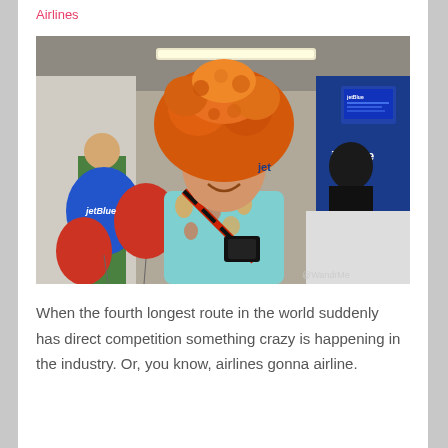Airlines
[Figure (photo): A man in a Hawaiian shirt wearing a large orange foam hat stands smiling at a JetBlue airline gate, surrounded by blue and orange balloons.]
When the fourth longest route in the world suddenly has direct competition something crazy is happening in the industry. Or, you know, airlines gonna airline.